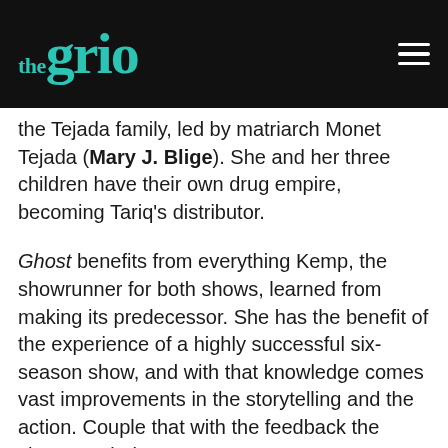the Grio
the Tejada family, led by matriarch Monet Tejada (Mary J. Blige). She and her three children have their own drug empire, becoming Tariq's distributor.
Ghost benefits from everything Kemp, the showrunner for both shows, learned from making its predecessor. She has the benefit of the experience of a highly successful six-season show, and with that knowledge comes vast improvements in the storytelling and the action. Couple that with the feedback the show regularly